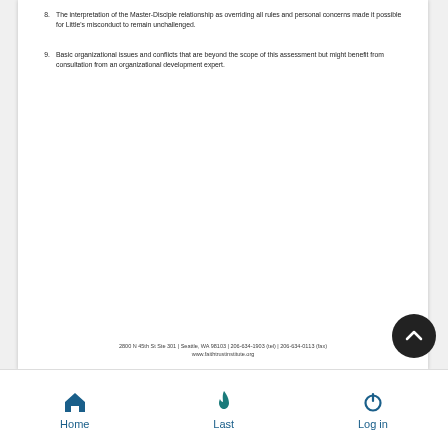8. The interpretation of the Master-Disciple relationship as overriding all rules and personal concerns made it possible for Little's misconduct to remain unchallenged.
9. Basic organizational issues and conflicts that are beyond the scope of this assessment but might benefit from consultation from an organizational development expert.
2800 N 45th St Ste 301 | Seattle, WA 98103 | 206-634-1903 (tel) | 206-634-0113 (fax)
www.faithtrustinstitute.org